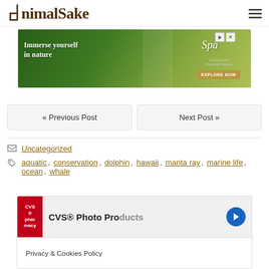AnimalSake
[Figure (photo): Advertisement banner: 'Immerse yourself in nature' with The Spa branding and 'Explore Now' button, green nature background with woman in white robe]
« Previous Post   Next Post »
Uncategorized
aquatic, conservation, dolphin, hawaii, manta ray, marine life, ocean, whale
[Figure (screenshot): Advertisement for CVS® Photo Products with Privacy & Cookies Policy overlay banner]